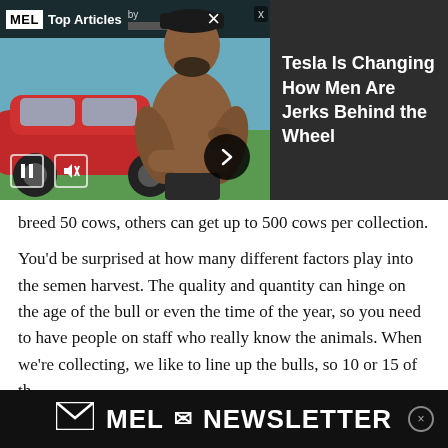[Figure (screenshot): MEL Top Articles video ad overlay showing a red Tesla car and a muscular shirtless man with arms crossed, with video playback controls (pause and mute buttons), and a right arrow button]
Tesla Is Changing How Men Are Jerks Behind the Wheel
breed 50 cows, others can get up to 500 cows per collection.
You’d be surprised at how many different factors play into the semen harvest. The quality and quantity can hinge on the age of the bull or even the time of the year, so you need to have people on staff who really know the animals. When we’re collecting, we like to line up the bulls, so 10 or 15 of th
[Figure (logo): MEL NEWSLETTER banner advertisement at the bottom of the page]